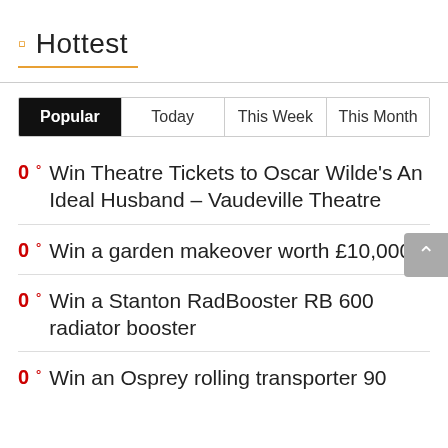Hottest
Popular  Today  This Week  This Month
0° Win Theatre Tickets to Oscar Wilde's An Ideal Husband – Vaudeville Theatre
0° Win a garden makeover worth £10,000
0° Win a Stanton RadBooster RB 600 radiator booster
0° Win an Osprey rolling transporter 90